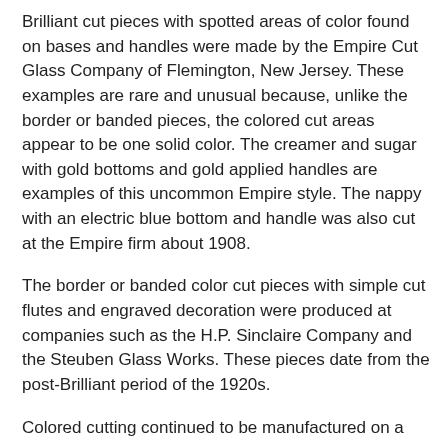Brilliant cut pieces with spotted areas of color found on bases and handles were made by the Empire Cut Glass Company of Flemington, New Jersey. These examples are rare and unusual because, unlike the border or banded pieces, the colored cut areas appear to be one solid color. The creamer and sugar with gold bottoms and gold applied handles are examples of this uncommon Empire style. The nappy with an electric blue bottom and handle was also cut at the Empire firm about 1908.
The border or banded color cut pieces with simple cut flutes and engraved decoration were produced at companies such as the H.P. Sinclaire Company and the Steuben Glass Works. These pieces date from the post-Brilliant period of the 1920s.
Colored cutting continued to be manufactured on a limited basis during the 1920s and early 1930s. The cutting and engraving was simpler in design on cased or solid colored pieces. Companies noted for these examples were the Pairpoint Glass Company, the Libbey Glass Company, Steuben Glass Works, and the Durand Art Glass Division of the Vineland Flint Glass Works.